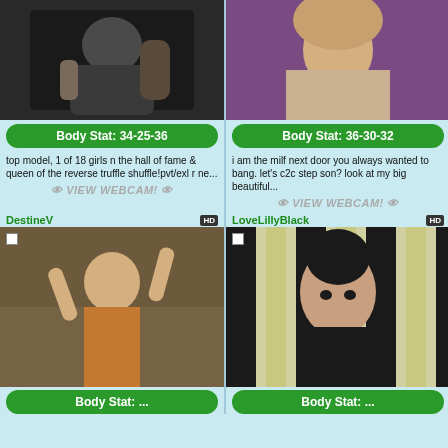[Figure (photo): Tattooed woman with dark hair, adult content thumbnail]
Body Stat: 34-25-36
top model, 1 of 18 girls n the hall of fame & queen of the reverse truffle shuffle!pvt/exl r ne...
👁️ VIEW WEBCAM! 👁️
[Figure (photo): Blonde woman, adult content thumbnail]
Body Stat: 36-30-32
i am the milf next door you always wanted to bang. let's c2c step son? look at my big beautiful...
👁️ VIEW WEBCAM! 👁️
DestineV
[Figure (photo): Young blonde woman in orange top, adult webcam thumbnail]
LoveLillyBlack
[Figure (photo): Dark haired woman with dramatic makeup, adult webcam thumbnail]